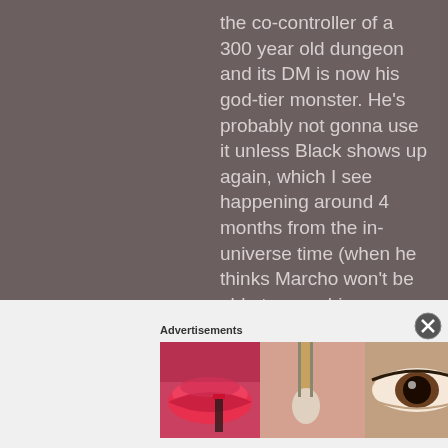the co-controller of a 300 year old dungeon and its DM is now his god-tier monster. He's probably not gonna use it unless Black shows up again, which I see happening around 4 months from the in-universe time (when he thinks Marcho won't be able to save him anymore).

As for the darkness dragons, he's basically leaving their training to Duke since they
[Figure (photo): Advertisement banner with beauty product images showing lips, makeup brush, eye, ULTA beauty logo, dramatic eye makeup, and SHOP NOW button]